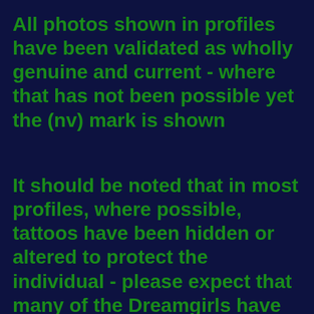All photos shown in profiles have been validated as wholly genuine and current - where that has not been possible yet the (nv) mark is shown
It should be noted that in most profiles, where possible, tattoos have been hidden or altered to protect the individual - please expect that many of the Dreamgirls have tattoos.